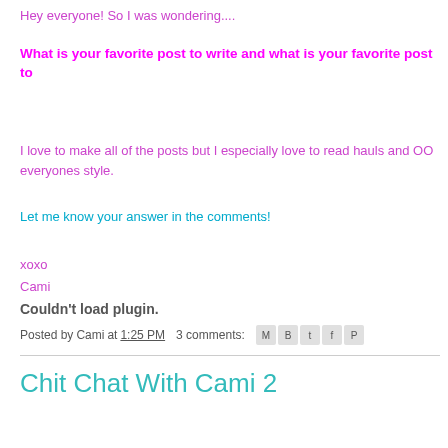Hey everyone! So I was wondering....
What is your favorite post to write and what is your favorite post to
I love to make all of the posts but I especially love to read hauls and OO everyones style.
Let me know your answer in the comments!
xoxo
Cami
Couldn't load plugin.
Posted by Cami at 1:25 PM   3 comments:
Chit Chat With Cami 2